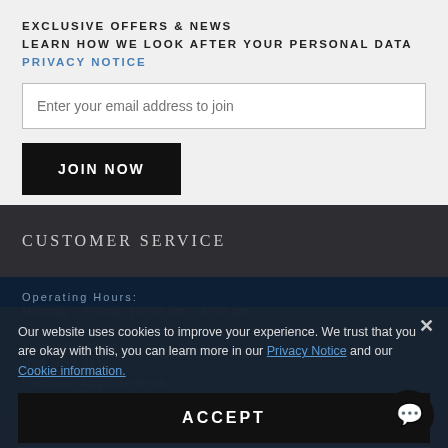EXCLUSIVE OFFERS & NEWS
LEARN HOW WE LOOK AFTER YOUR PERSONAL DATA PRIVACY NOTICE
Enter your email address to join
JOIN NOW
CUSTOMER SERVICE
Operating Hours:
Monday - Friday 10:00 am - 5:00 pm
info@hughrice.co.uk
0800 542 3180
Hull HU2 8LN
Personal Appointments
Our website uses cookies to improve your experience. We trust that you are okay with this, you can learn more in our Privacy Notice and our Cookie information.
ACCEPT
DECLINE
ABOUT US
NEED HELP